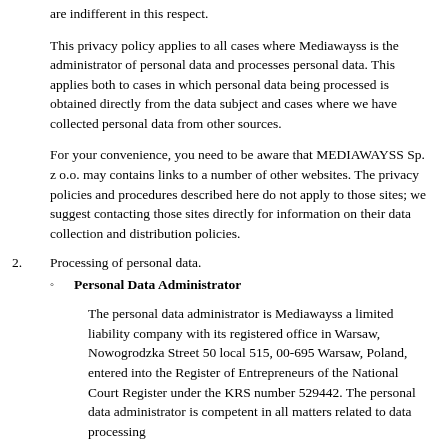are indifferent in this respect.
This privacy policy applies to all cases where Mediawayss is the administrator of personal data and processes personal data. This applies both to cases in which personal data being processed is obtained directly from the data subject and cases where we have collected personal data from other sources.
For your convenience, you need to be aware that MEDIAWAYSS Sp. z o.o. may contains links to a number of other websites. The privacy policies and procedures described here do not apply to those sites; we suggest contacting those sites directly for information on their data collection and distribution policies.
2. Processing of personal data.
Personal Data Administrator
The personal data administrator is Mediawayss a limited liability company with its registered office in Warsaw, Nowogrodzka Street 50 local 515, 00-695 Warsaw, Poland, entered into the Register of Entrepreneurs of the National Court Register under the KRS number 529442. The personal data administrator is competent in all matters related to data processing